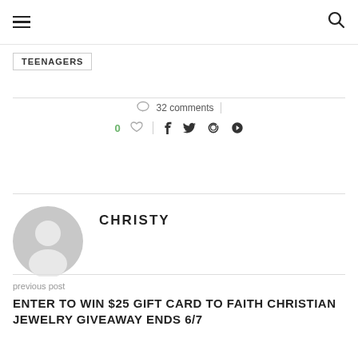≡  🔍
TEENAGERS
32 comments
0 ♡  f  t  g+  p
[Figure (illustration): Generic grey user avatar placeholder icon]
CHRISTY
previous post
ENTER TO WIN $25 GIFT CARD TO FAITH CHRISTIAN JEWELRY GIVEAWAY ENDS 6/7